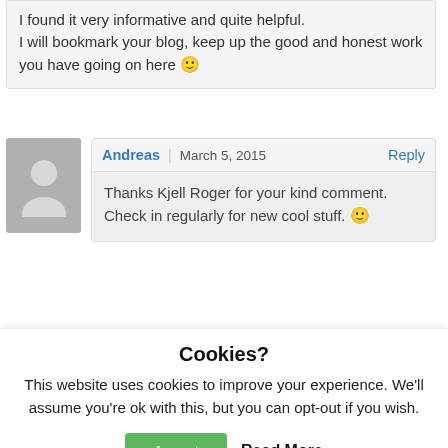I found it very informative and quite helpful. I will bookmark your blog, keep up the good and honest work you have going on here 🙂
Andreas | March 5, 2015  Reply
Thanks Kjell Roger for your kind comment. Check in regularly for new cool stuff. 🙂
Cookies?
This website uses cookies to improve your experience. We'll assume you're ok with this, but you can opt-out if you wish.
Accept  Read More